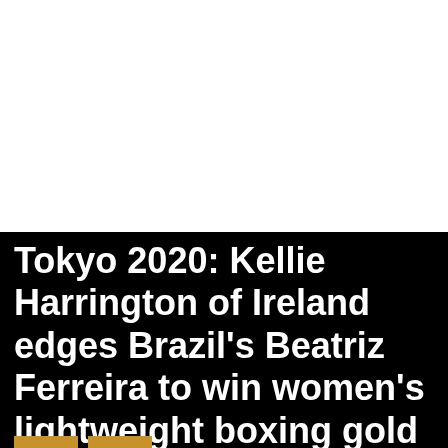[Figure (photo): White/blank upper portion of the page, likely a photograph area that is white or washed out.]
Tokyo 2020: Kellie Harrington of Ireland edges Brazil's Beatriz Ferreira to win women's lightweight boxing gold medal